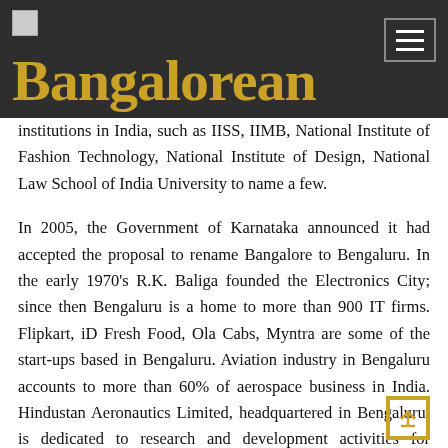Bangalorean
institutions in India, such as IISS, IIMB, National Institute of Fashion Technology, National Institute of Design, National Law School of India University to name a few.
In 2005, the Government of Karnataka announced it had accepted the proposal to rename Bangalore to Bengaluru. In the early 1970's R.K. Baliga founded the Electronics City; since then Bengaluru is a home to more than 900 IT firms. Flipkart, iD Fresh Food, Ola Cabs, Myntra are some of the start-ups based in Bengaluru. Aviation industry in Bengaluru accounts to more than 60% of aerospace business in India. Hindustan Aeronautics Limited, headquartered in Bengaluru, is dedicated to research and development activities for indigenous fighter aircraft for the Indian Air Force. The National Aerospace Laboratories (NAL) is also headquartered here, and is dedicated to the